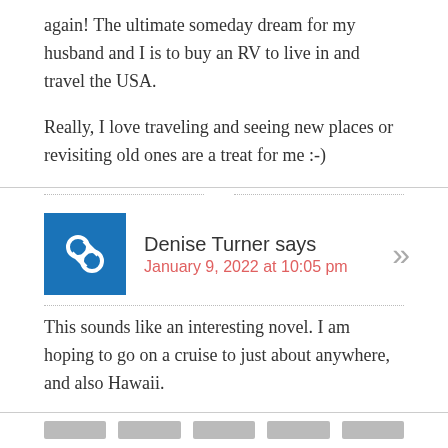again! The ultimate someday dream for my husband and I is to buy an RV to live in and travel the USA.
Really, I love traveling and seeing new places or revisiting old ones are a treat for me :-)
Denise Turner says
January 9, 2022 at 10:05 pm
This sounds like an interesting novel. I am hoping to go on a cruise to just about anywhere, and also Hawaii.